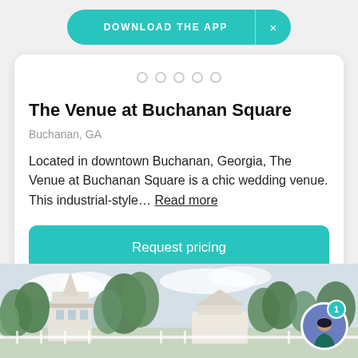DOWNLOAD THE APP ×
[Figure (screenshot): Five circle dot indicators for image carousel navigation]
The Venue at Buchanan Square
Buchanan, GA
Located in downtown Buchanan, Georgia, The Venue at Buchanan Square is a chic wedding venue. This industrial-style… Read more
Request pricing
[Figure (photo): Photo of a wedding venue with trees and a building with a steeple in Buchanan, GA]